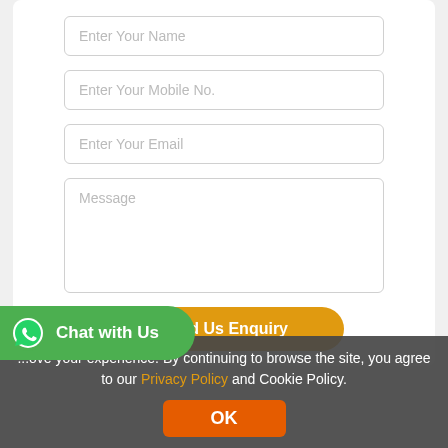[Figure (screenshot): Contact form with fields: Enter Your Name, Enter Your Mobile No., Enter Your Email, Message textarea, and a Send Us Enquiry button on a white card background]
[Figure (other): Green 'Chat with Us' button with WhatsApp icon in the bottom left corner]
...ove your experience. By continuing to browse the site, you agree to our Privacy Policy and Cookie Policy.
OK